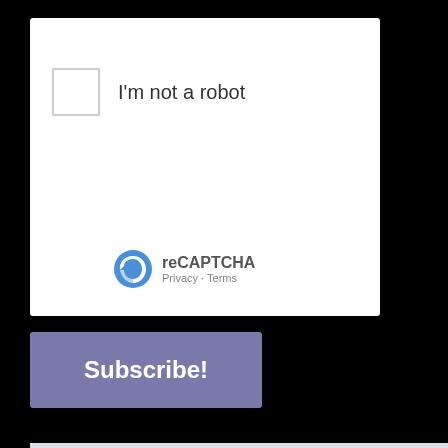[Figure (screenshot): reCAPTCHA widget with 'I'm not a robot' checkbox, reCAPTCHA logo, Privacy and Terms links]
I'm not a robot
reCAPTCHA
Privacy · Terms
Subscribe!
[Figure (logo): Chip and Company logo with Mickey ears, purple 3D lettering and gold cursive 'Company' text]
DISNEY PARKS & NEWS PODCASTS